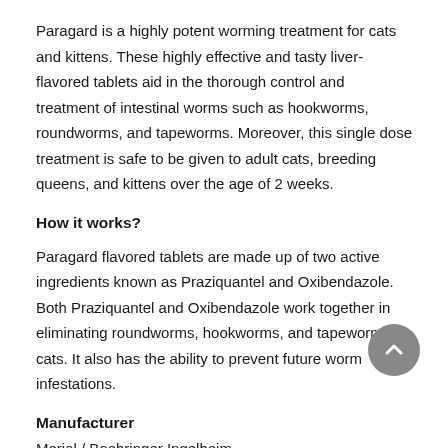Paragard is a highly potent worming treatment for cats and kittens. These highly effective and tasty liver-flavored tablets aid in the thorough control and treatment of intestinal worms such as hookworms, roundworms, and tapeworms. Moreover, this single dose treatment is safe to be given to adult cats, breeding queens, and kittens over the age of 2 weeks.
How it works?
Paragard flavored tablets are made up of two active ingredients known as Praziquantel and Oxibendazole. Both Praziquantel and Oxibendazole work together in eliminating roundworms, hookworms, and tapeworms in cats. It also has the ability to prevent future worm infestations.
Manufacturer
Merial / Boehringer Ingelheim